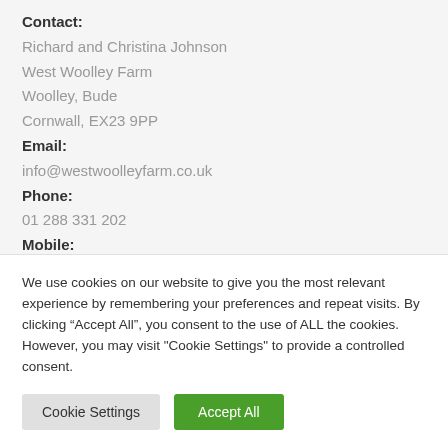Contact: Richard and Christina Johnson, West Woolley Farm, Woolley, Bude, Cornwall, EX23 9PP
Email: info@westwoolleyfarm.co.uk
Phone: 01 288 331 202
Mobile: 07774 211039
We use cookies on our website to give you the most relevant experience by remembering your preferences and repeat visits. By clicking “Accept All”, you consent to the use of ALL the cookies. However, you may visit "Cookie Settings" to provide a controlled consent.